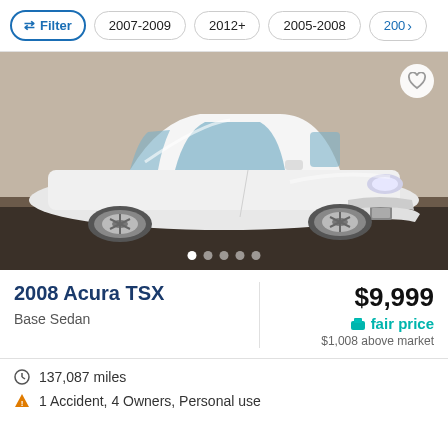Filter | 2007-2009 | 2012+ | 2005-2008 | 2009>
[Figure (photo): White 2008 Acura TSX sedan photographed at a dealership on a dark floor with a beige/tan wall background, front 3/4 view. Heart/favorite icon in top right. Five dot page indicators at bottom center.]
2008 Acura TSX
Base Sedan
$9,999
fair price
$1,008 above market
137,087 miles
1 Accident, 4 Owners, Personal use